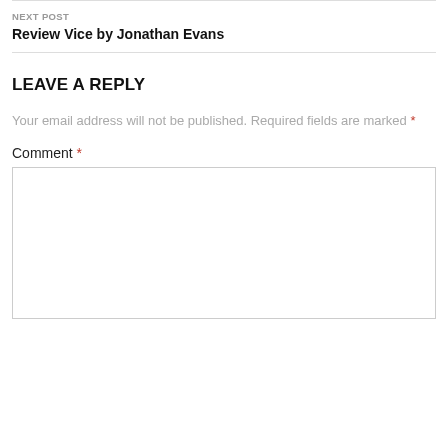NEXT POST
Review Vice by Jonathan Evans
LEAVE A REPLY
Your email address will not be published. Required fields are marked *
Comment *